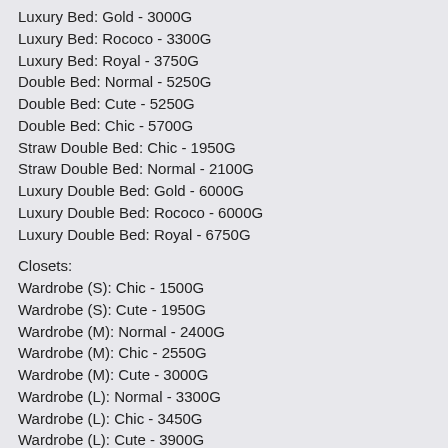Luxury Bed: Gold - 3000G
Luxury Bed: Rococo - 3300G
Luxury Bed: Royal - 3750G
Double Bed: Normal - 5250G
Double Bed: Cute - 5250G
Double Bed: Chic - 5700G
Straw Double Bed: Chic - 1950G
Straw Double Bed: Normal - 2100G
Luxury Double Bed: Gold - 6000G
Luxury Double Bed: Rococo - 6000G
Luxury Double Bed: Royal - 6750G
Closets:
Wardrobe (S): Chic - 1500G
Wardrobe (S): Cute - 1950G
Wardrobe (M): Normal - 2400G
Wardrobe (M): Chic - 2550G
Wardrobe (M): Cute - 3000G
Wardrobe (L): Normal - 3300G
Wardrobe (L): Chic - 3450G
Wardrobe (L): Cute - 3900G
Cabinet (S): Normal - 1200G
Cabinet (S): Chic - 1200G
Cabinet (S): Cute - 1350G
Cabinet (M): Normal - 1500G
Cabinet (M): Chic - 1500G